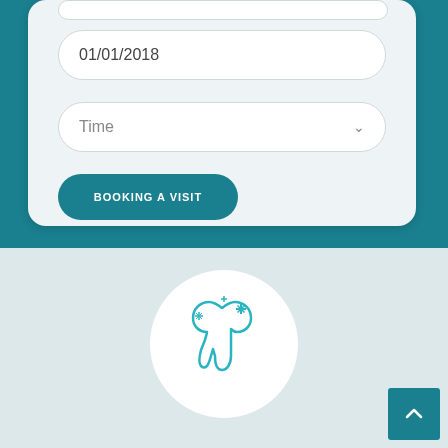[Figure (screenshot): Date input field showing 01/01/2018]
[Figure (screenshot): Time dropdown selector input field]
BOOKING A VISIT
[Figure (illustration): Dental clinic logo: a sparkling tooth icon with four-pointed stars inside a white circle, rendered in teal/cyan on a light blue-grey background]